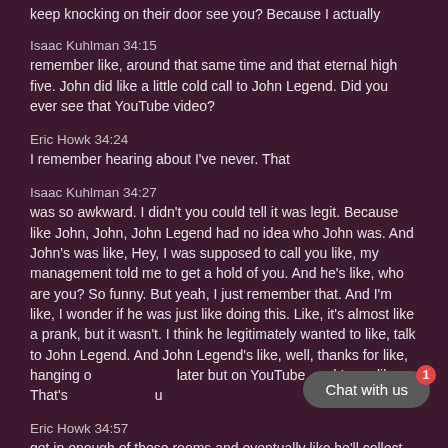keep knocking on their door see you? Because I actually
Isaac Kuhlman 34:15
remember like, around that same time and that eternal high five. John did like a little cold call to John Legend. Did you ever see that YouTube video?
Eric Howk 34:24
I remember hearing about I've never. That
Isaac Kuhlman 34:27
was so awkward. I didn't you could tell it was legit. Because like John, John, John Legend had no idea who John was. And John's was like, Hey, I was supposed to call you like, my management told me to get a hold of you. And he's like, who are you? So funny. But yeah, I just remember that. And I'm like, I wonder if he was just like doing this. Like, it's almost like a prank, but it wasn't. I think he legitimately wanted to like, talk to John Legend. And John Legend's like, well, thanks for like, hanging o later but on YouTube, and I was like, That's ou
Eric Howk 34:57
get in enough of these rooms and eventually like he'll collect some